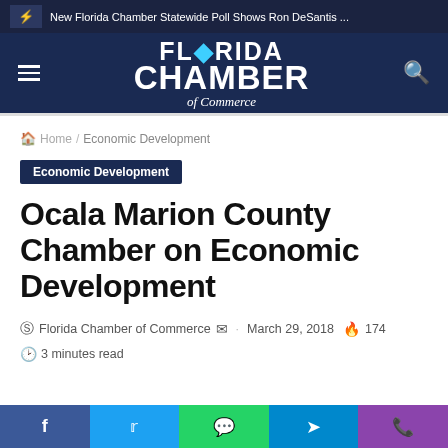New Florida Chamber Statewide Poll Shows Ron DeSantis ...
[Figure (logo): Florida Chamber of Commerce logo — white text on dark navy background with hamburger menu and search icon]
Home / Economic Development
Economic Development
Ocala Marion County Chamber on Economic Development
Florida Chamber of Commerce · March 29, 2018 · 174
3 minutes read